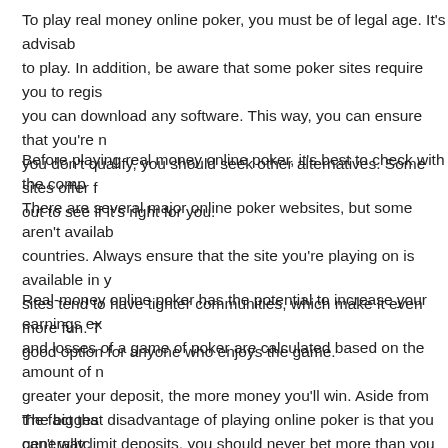To play real money online poker, you must be of legal age. It's advisable to play. In addition, be aware that some poker sites require you to regis you can download any software. This way, you can ensure that you're n you don't qualify, you should seek other alternatives. Some sites offer f out to see if it's right for you.
Before playing real money online poker, it's best to check with the comp There are several major online poker websites, but some aren't availab countries. Always ensure that the site you're playing on is available in y sites tend to have tighter communities, which make it even more fun. T good option for anyone who enjoys the game.
Real-money online poker has the potential to increase your earnings ex and losses of a game of poker are calculated based on the amount of n greater your deposit, the more money you'll win. Aside from the fact tha generally limit deposits, you should never bet more than you can afford seem like a simple statement, it is an important one. Moreover, it's a fa real-money online poker can play for free.
The biggest disadvantage of playing online poker is that you can't watc addition, you can't see their body language. This isn't an advantage in o